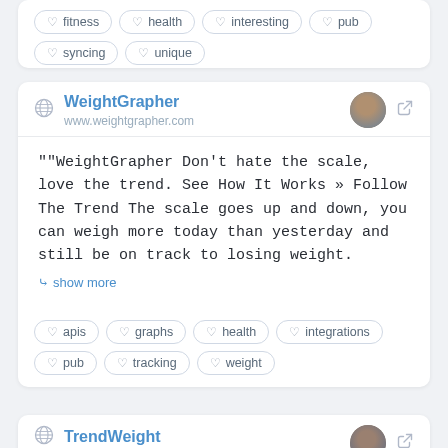fitness | health | interesting | pub | syncing | unique
WeightGrapher
www.weightgrapher.com
""WeightGrapher Don't hate the scale, love the trend. See How It Works » Follow The Trend The scale goes up and down, you can weigh more today than yesterday and still be on track to losing weight.
show more
apis | graphs | health | integrations | pub | tracking | weight
TrendWeight